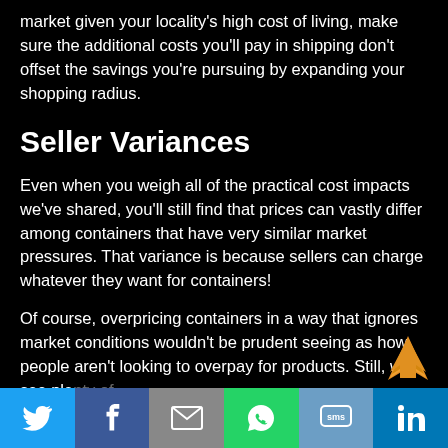market given your locality's high cost of living, make sure the additional costs you'll pay in shipping don't offset the savings you're pursuing by expanding your shopping radius.
Seller Variances
Even when you weigh all of the practical cost impacts we've shared, you'll still find that prices can vastly differ among containers that have very similar market pressures. That variance is because sellers can charge whatever they want for containers!
Of course, overpricing containers in a way that ignores market conditions wouldn't be prudent seeing as how people aren't looking to overpay for products. Still, we see ple...
Twitter | Facebook | Email | WhatsApp | SMS | LinkedIn